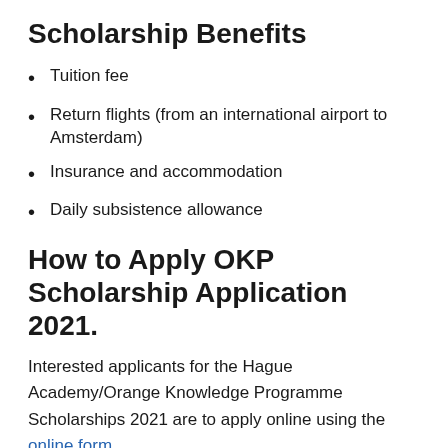Scholarship Benefits
Tuition fee
Return flights (from an international airport to Amsterdam)
Insurance and accommodation
Daily subsistence allowance
How to Apply OKP Scholarship Application 2021.
Interested applicants for the Hague Academy/Orange Knowledge Programme Scholarships 2021 are to apply online using the online form